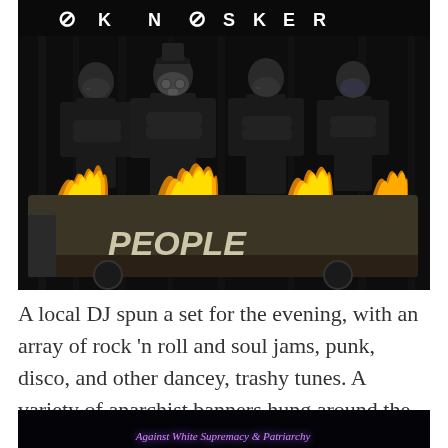[Figure (photo): Four people dressed in all black clothing and face masks standing in front of black curtains with anarchist symbols. In front of them is a van or vehicle decorated with painted flames and graffiti text reading 'PEOPLE' in an anarchist style.]
A local DJ spun a set for the evening, with an array of rock 'n roll and soul jams, punk, disco, and other dancey, trashy tunes. A variety of anarchist banners hung around the room.
[Figure (photo): Dark image showing a vehicle lit with purple neon light, with text reading 'Against White Supremacy & Patriarchy' visible in italic purple lettering. A yellow light is visible on the left side.]